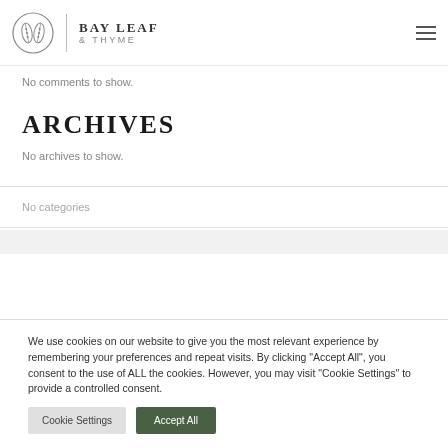BAY LEAF & THYME
No comments to show.
ARCHIVES
No archives to show.
No categories
We use cookies on our website to give you the most relevant experience by remembering your preferences and repeat visits. By clicking “Accept All”, you consent to the use of ALL the cookies. However, you may visit “Cookie Settings” to provide a controlled consent.